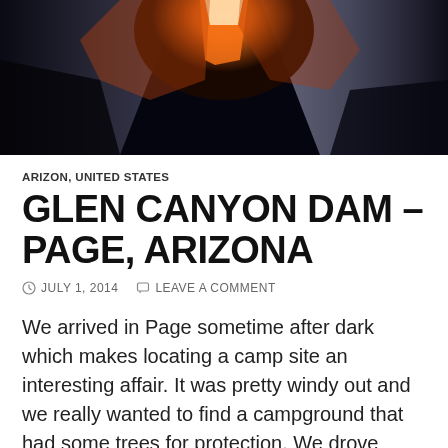[Figure (photo): Close-up photo of Antelope Canyon slot canyon with dramatic orange and red sandstone rock formations, narrow slit of light at top, dark shadowed walls on sides]
ARIZON, UNITED STATES
GLEN CANYON DAM – PAGE, ARIZONA
JULY 1, 2014   LEAVE A COMMENT
We arrived in Page sometime after dark which makes locating a camp site an interesting affair. It was pretty windy out and we really wanted to find a campground that had some trees for protection. We drove through Wahweap RV park where there were a few scrawny trees but nothing